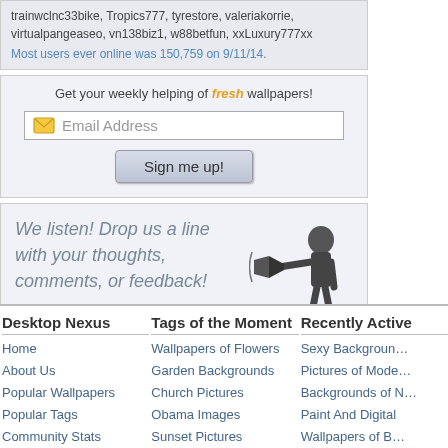trainwclnc33bike, Tropics777, tyrestore, valeriakorrie, virtualpangeaseo, vn138biz1, w88betfun, xxLuxury777xx
Most users ever online was 150,759 on 9/11/14.
Get your weekly helping of fresh wallpapers!
[Figure (screenshot): Email signup widget with email input field and Sign me up! button]
[Figure (illustration): Feedback callout with text 'We listen! Drop us a line with your thoughts, comments, or feedback!' and a black-and-white illustration of a person with a megaphone]
[Figure (other): Support This Site button with red heart icon]
Desktop Nexus
Home
About Us
Popular Wallpapers
Popular Tags
Community Stats
Tags of the Moment
Wallpapers of Flowers
Garden Backgrounds
Church Pictures
Obama Images
Sunset Pictures
Recently Active
Sexy Backgrounds
Pictures of Models
Backgrounds of Nature
Paint And Digital
Wallpapers of B...